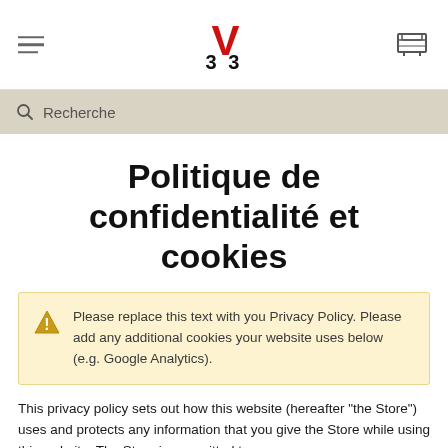3V3 logo with hamburger menu and cart icon
Recherche
Politique de confidentialité et cookies
Please replace this text with you Privacy Policy. Please add any additional cookies your website uses below (e.g. Google Analytics).
This privacy policy sets out how this website (hereafter "the Store") uses and protects any information that you give the Store while using this website. The Store is committed to